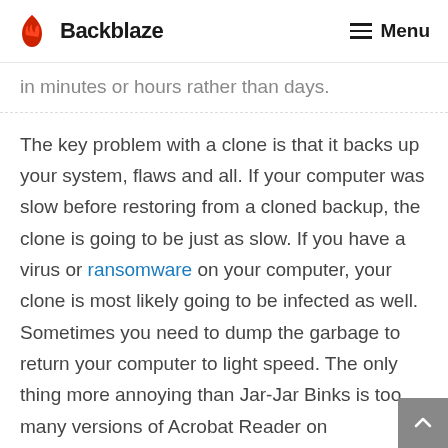Backblaze  Menu
in minutes or hours rather than days.
The key problem with a clone is that it backs up your system, flaws and all. If your computer was slow before restoring from a cloned backup, the clone is going to be just as slow. If you have a virus or ransomware on your computer, your clone is most likely going to be infected as well. Sometimes you need to dump the garbage to return your computer to light speed. The only thing more annoying than Jar-Jar Binks is too many versions of Acrobat Reader on